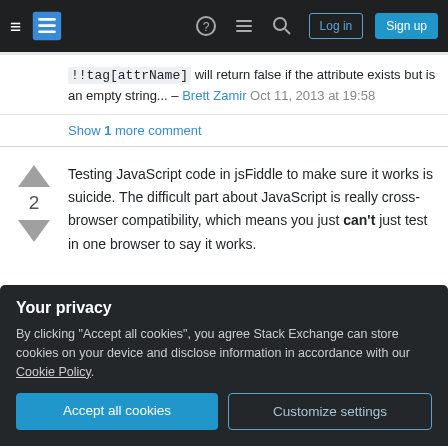Stack Exchange navigation bar with hamburger, logo, question mark, comment, search icons, Log in and Sign up buttons
!!tag[attrName] will return false if the attribute exists but is an empty string... – Brett Zamir Oct 11, 2013 at 19:58
Show 1 more comment
Testing JavaScript code in jsFiddle to make sure it works is suicide. The difficult part about JavaScript is really cross-browser compatibility, which means you just can't just test in one browser to say it works.
Your privacy
By clicking "Accept all cookies", you agree Stack Exchange can store cookies on your device and disclose information in accordance with our Cookie Policy.
Accept all cookies
Customize settings
it's safe to use and will work in any browser